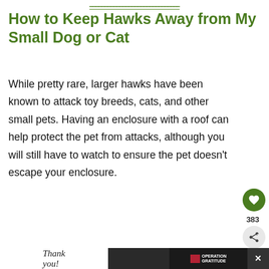How to Keep Hawks Away from My Small Dog or Cat
While pretty rare, larger hawks have been known to attack toy breeds, cats, and other small pets. Having an enclosure with a roof can help protect the pet from attacks, although you will still have to watch to ensure the pet doesn't escape your enclosure.
[Figure (screenshot): Advertisement banner showing 'GO BEYOND SAYING THANK YOU' text on dark blue background with military service members, and a 'What's Next' panel showing 'How to Get Rid of Lizards']
[Figure (screenshot): Bottom advertisement bar with 'Thank you!' cursive text, American flag imagery, and 'Operation Gratitude' logo on dark background]